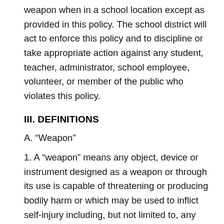weapon when in a school location except as provided in this policy. The school district will act to enforce this policy and to discipline or take appropriate action against any student, teacher, administrator, school employee, volunteer, or member of the public who violates this policy.
III. DEFINITIONS
A. “Weapon”
1. A “weapon” means any object, device or instrument designed as a weapon or through its use is capable of threatening or producing bodily harm or which may be used to inflict self-injury including, but not limited to, any firearm, whether loaded or unloaded; airguns; pellet guns; BB guns; all knives; blades; clubs;